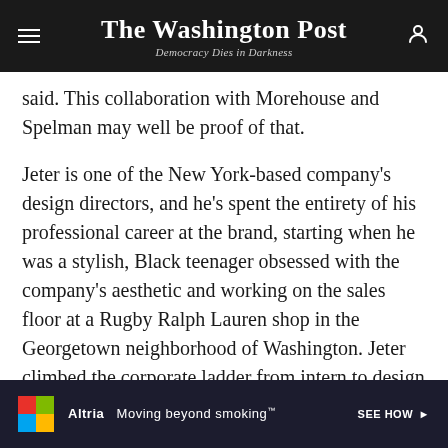The Washington Post — Democracy Dies in Darkness
said. This collaboration with Morehouse and Spelman may well be proof of that.
Jeter is one of the New York-based company's design directors, and he's spent the entirety of his professional career at the brand, starting when he was a stylish, Black teenager obsessed with the company's aesthetic and working on the sales floor at a Rugby Ralph Lauren shop in the Georgetown neighborhood of Washington. Jeter climbed the corporate ladder from intern to design associate to a lead designer. He is also a Morehouse man from the Class of 2013. And he educated his boss on what that meant.
[Figure (other): Advertisement banner: Altria 'Moving beyond smoking' — SEE HOW]